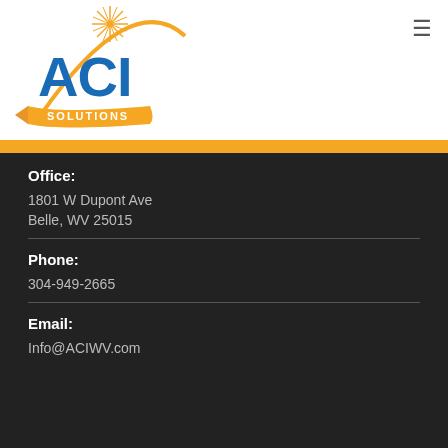[Figure (logo): ACI Solutions company logo with blue bold 'ACI' text, orange swoosh/ribbon, gold starburst, and 'SOLUTIONS' text on orange banner]
Office:
1801 W Dupont Ave
Belle, WV 25015
Phone:
304-949-2665
Email:
Info@ACIWV.com